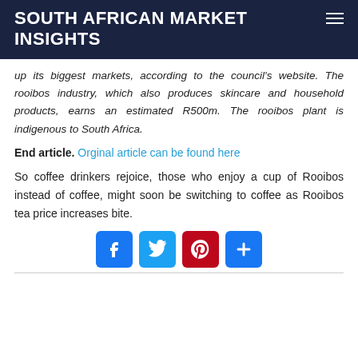SOUTH AFRICAN MARKET INSIGHTS
up its biggest markets, according to the council's website. The rooibos industry, which also produces skincare and household products, earns an estimated R500m. The rooibos plant is indigenous to South Africa.
End article. Orginal article can be found here
So coffee drinkers rejoice, those who enjoy a cup of Rooibos instead of coffee, might soon be switching to coffee as Rooibos tea price increases bite.
[Figure (other): Social sharing buttons: Facebook, Twitter, Pinterest, and a plus/share button]